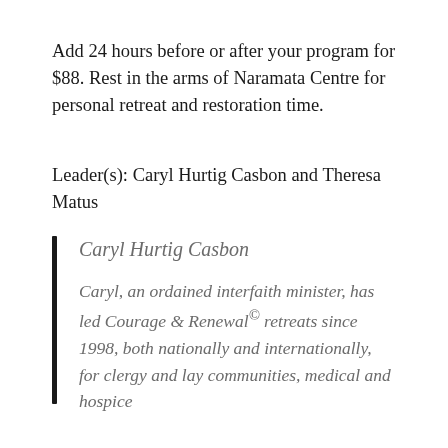Add 24 hours before or after your program for $88. Rest in the arms of Naramata Centre for personal retreat and restoration time.
Leader(s): Caryl Hurtig Casbon and Theresa Matus
Caryl Hurtig Casbon
Caryl, an ordained interfaith minister, has led Courage & Renewal© retreats since 1998, both nationally and internationally, for clergy and lay communities, medical and hospice